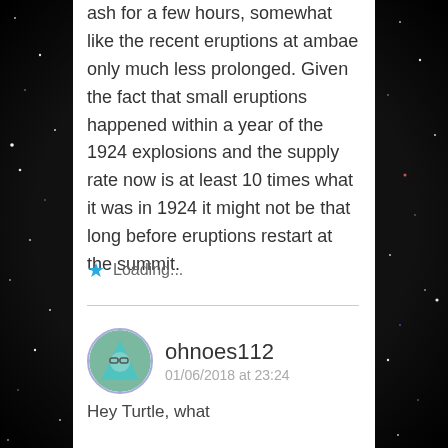ash for a few hours, somewhat like the recent eruptions at ambae only much less prolonged. Given the fact that small eruptions happened within a year of the 1924 explosions and the supply rate now is at least 10 times what it was in 1924 it might not be that long before eruptions restart at the summit.
Loading...
ohnoes112
01/06/2018 at 23:24
Hey Turtle, what